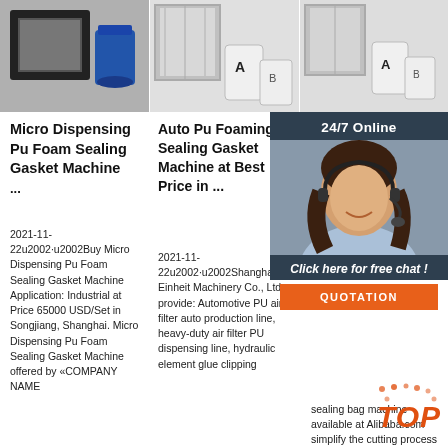[Figure (photo): Three product images at top: left shows sealing gasket machine parts (black frame, blue bucket), center shows aluminum frame panels with chemical buckets labeled A and B, right shows similar products]
Micro Dispensing Pu Foam Sealing Gasket Machine ...
2021-11-22u2002·u2002Buy Micro Dispensing Pu Foam Sealing Gasket Machine Application: Industrial at Price 65000 USD/Set in Songjiang, Shanghai. Micro Dispensing Pu Foam Sealing Gasket Machine offered by «COMPANY NAME
Auto Pu Foaming Sealing Gasket Machine at Best Price in ...
2021-11-22u2002·u2002Shanghai Einheit Machinery Co., Ltd provide: Automotive PU air filter auto production line, heavy-duty air filter PU dispensing line, hydraulic element glue clipping
Stella sealing mach Opti ...
... About suppli outsta sealing bag machine available at Alibaba.com simplify the cutting process and make it enjoyable. These,
[Figure (infographic): Chat widget overlay: 24/7 Online header, photo of woman with headset, Click here for free chat text, QUOTATION button in orange]
[Figure (logo): TOP badge with orange dots and orange italic TOP text]